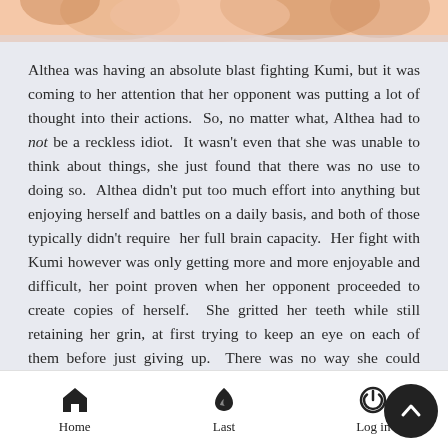[Figure (illustration): Top portion of an illustrated manga/comic-style image showing characters with warm skin tones and brown/orange hair, cropped at top of page]
Althea was having an absolute blast fighting Kumi, but it was coming to her attention that her opponent was putting a lot of thought into their actions. So, no matter what, Althea had to not be a reckless idiot. It wasn't even that she was unable to think about things, she just found that there was no use to doing so. Althea didn't put too much effort into anything but enjoying herself and battles on a daily basis, and both of those typically didn't require her full brain capacity. Her fight with Kumi however was only getting more and more enjoyable and difficult, her point proven when her opponent proceeded to create copies of herself. She gritted her teeth while still retaining her grin, at first trying to keep an eye on each of them before just giving up. There was no way she could possibly keep track of each moving target, and there was no way to find Kumi's amongst four others that were practically the same.
Home  Last  Log in